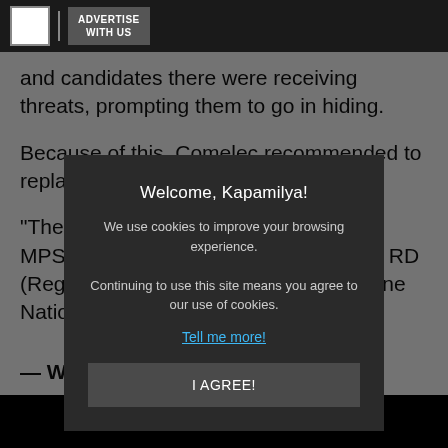ADVERTISE WITH US
and candidates there were receiving threats, prompting them to go in hiding.
Because of this, Comelec recommended to replace the entire Pilar police force.
"The instruction is to replace the entire MPS (municipal police station). I texted RD (Regional Director) R... " Philippine National P... aid.
— With a r... BN News
FROM THE...
[Figure (screenshot): Cookie consent modal overlay with title 'Welcome, Kapamilya!', body text about cookies, 'Tell me more!' link, and 'I AGREE!' button on a dark background.]